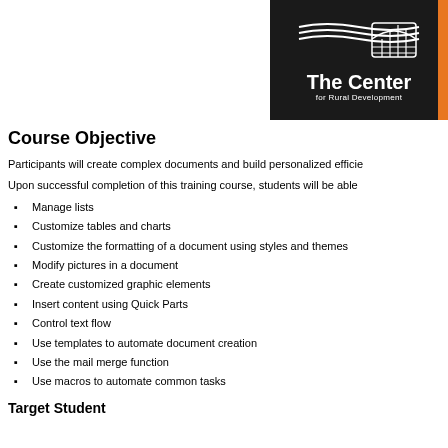[Figure (logo): The Center for Rural Development logo — white text and wave/arch graphic on dark background with orange bar on right edge]
Course Objective
Participants will create complex documents and build personalized efficie...
Upon successful completion of this training course, students will be able...
Manage lists
Customize tables and charts
Customize the formatting of a document using styles and themes
Modify pictures in a document
Create customized graphic elements
Insert content using Quick Parts
Control text flow
Use templates to automate document creation
Use the mail merge function
Use macros to automate common tasks
Target Student